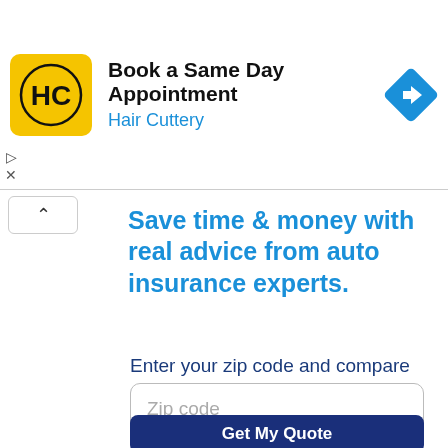[Figure (logo): Hair Cuttery ad banner with yellow logo, text 'Book a Same Day Appointment / Hair Cuttery', and blue navigation diamond icon on the right]
Save time & money with real advice from auto insurance experts.
Enter your zip code and compare quotes:
[Figure (screenshot): Zip code input field with placeholder text 'Zip code']
Get My Quote